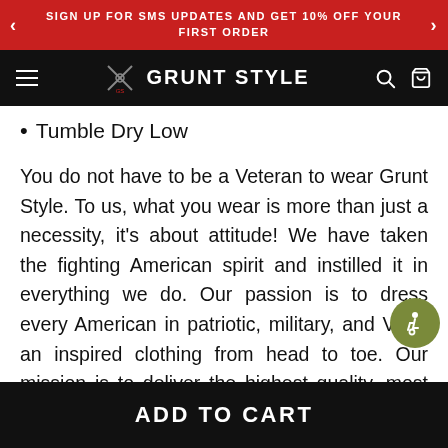SIGN UP FOR SMS UPDATES AND GET 10% OFF YOUR FIRST ORDER
GRUNT STYLE
Tumble Dry Low
You do not have to be a Veteran to wear Grunt Style. To us, what you wear is more than just a necessity, it's about attitude! We have taken the fighting American spirit and instilled it in everything we do. Our passion is to dress every American in patriotic, military, and Veteran inspired clothing from head to toe. Our mission is to deliver the highest quality, most patriotic apparel on the p... b...
ADD TO CART